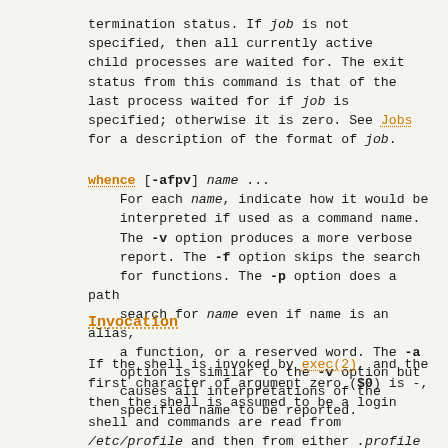termination status. If job is not specified, then all currently active child processes are waited for. The exit status from this command is that of the last process waited for if job is specified; otherwise it is zero. See Jobs for a description of the format of job.
whence [-afpv] name ...
For each name, indicate how it would be interpreted if used as a command name. The -v option produces a more verbose report. The -f option skips the search for functions. The -p option does a path search for name even if name is an alias, a function, or a reserved word. The -a option is similar to the -v option but causes all interpretations of the specified name to be reported.
Invocation
If the shell is invoked by exec(2), and the first character of argument zero ($0) is -, then the shell is assumed to be a login shell and commands are read from /etc/profile and then from either .profile in the current directory or $HOME/.profile, if either file exists. Next, for interactive